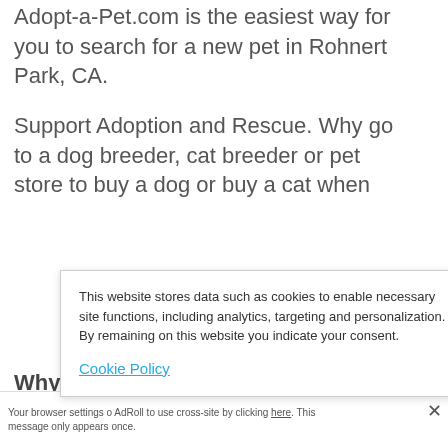Adopt-a-Pet.com is the easiest way for you to search for a new pet in Rohnert Park, CA.
Support Adoption and Rescue. Why go to a dog breeder, cat breeder or pet store to buy a dog or buy a cat when
Why S
Dog a
Saves
This website stores data such as cookies to enable necessary site functions, including analytics, targeting and personalization. By remaining on this website you indicate your consent.
Cookie Policy
Your browser settings o AdRoll to use cross-site by clicking here. This message only appears once.